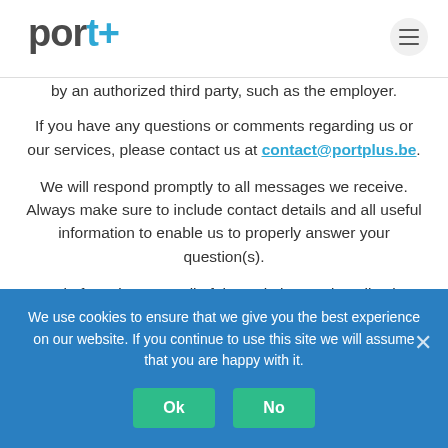port+
by an authorized third party, such as the employer.
If you have any questions or comments regarding us or our services, please contact us at contact@portplus.be.
We will respond promptly to all messages we receive. Always make sure to include contact details and all useful information to enable us to properly answer your question(s).
By ‘Platform’ is meant all of the websites and applications developed by Port+, including but not limited to www.portplus.be and *.portplus.be.
We use cookies to ensure that we give you the best experience on our website. If you continue to use this site we will assume that you are happy with it.